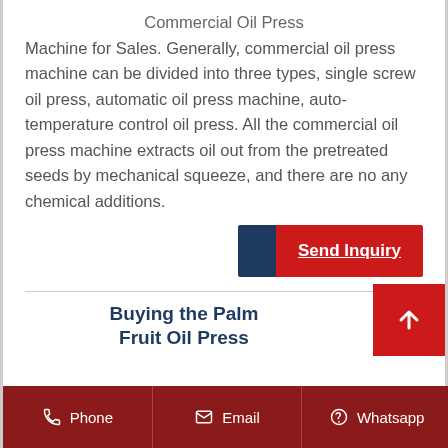Commercial Oil Press Machine for Sales. Generally, commercial oil press machine can be divided into three types, single screw oil press, automatic oil press machine, auto-temperature control oil press. All the commercial oil press machine extracts oil out from the pretreated seeds by mechanical squeeze, and there are no any chemical additions.
[Figure (other): Send Inquiry button with dark blue left accent and red background]
Buying the Palm Fruit Oil Press
Phone  Email  Whatsapp